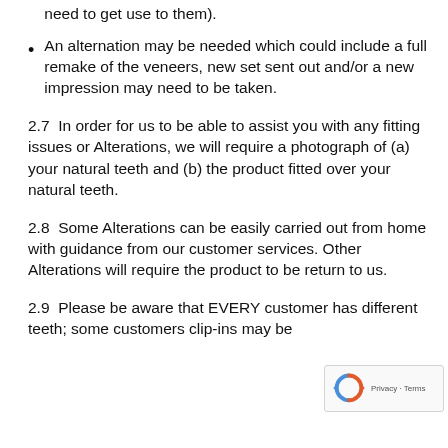need to get use to them).
An alternation may be needed which could include a full remake of the veneers, new set sent out and/or a new impression may need to be taken.
2.7  In order for us to be able to assist you with any fitting issues or Alterations, we will require a photograph of (a) your natural teeth and (b) the product fitted over your natural teeth.
2.8  Some Alterations can be easily carried out from home with guidance from our customer services. Other Alterations will require the product to be return to us.
2.9  Please be aware that EVERY customer has different teeth; some customers clip-ins may be